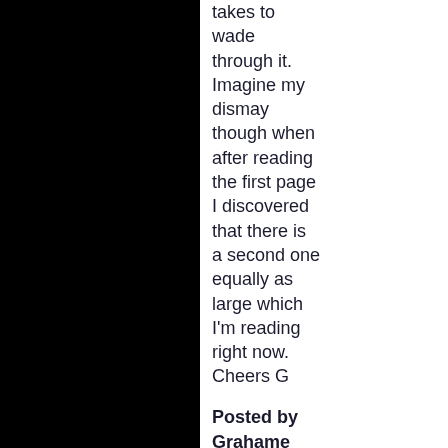takes to wade through it. Imagine my dismay though when after reading the first page I discovered that there is a second one equally as large which I'm reading right now. Cheers G
Posted by Grahame Rhodes on 07/20/11 at 04:50 PM | #
With you on the nossblood...